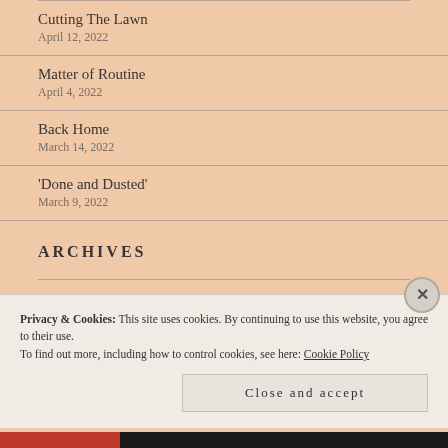Cutting The Lawn
April 12, 2022
Matter of Routine
April 4, 2022
Back Home
March 14, 2022
'Done and Dusted'
March 9, 2022
ARCHIVES
Privacy & Cookies: This site uses cookies. By continuing to use this website, you agree to their use.
To find out more, including how to control cookies, see here: Cookie Policy
Close and accept